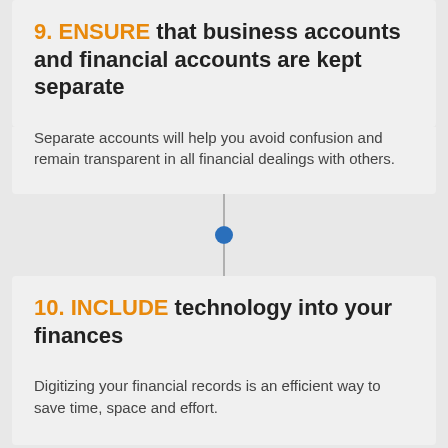9. ENSURE that business accounts and financial accounts are kept separate
Separate accounts will help you avoid confusion and remain transparent in all financial dealings with others.
[Figure (infographic): Vertical connector with a grey line and a blue dot in the center, linking two cards]
10. INCLUDE technology into your finances
Digitizing your financial records is an efficient way to save time, space and effort.